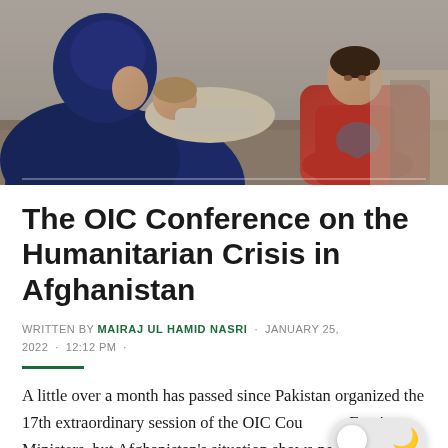[Figure (photo): A woman in dark blue clothing holding a sleeping child while another child in a red outfit sits nearby, depicting Afghanistan humanitarian crisis]
The OIC Conference on the Humanitarian Crisis in Afghanistan
WRITTEN BY MAIRAJ UL HAMID NASRI · JANUARY 25, 2022 · 12:12 PM ·
A little over a month has passed since Pakistan organized the 17th extraordinary session of the OIC Council of Foreign Ministers, but Afghanistan's situation shows no